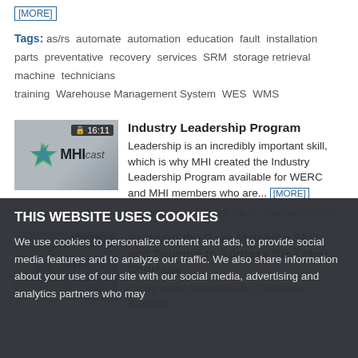[MORE]
Tags: as/rs  automate  automation  education  fault  installation  parts  preventative  recovery  services  SRM  storage retrieval machine  technicians  training  Warehouse Management System  WES  WMS
[Figure (screenshot): MHIcast video thumbnail with duration badge 16:11]
Industry Leadership Program
Leadership is an incredibly important skill, which is why MHI created the Industry Leadership Program available for WERC and MHI members who are... [MORE]
Tags: cohort  labor  leadership  mentor  MHI  skills  training  WERC
[Figure (screenshot): MHIcast video thumbnail with duration badge 23:29]
Bridging the Gap: Matching Skills and Training to Address the Labor Shortage
Today we're speaking with Christoph Bretgeld about a skills-based approach to hiring. Find out what skills are, how you can evaluate them, and why... [MORE]
THIS WEBSITE USES COOKIES
We use cookies to personalize content and ads, to provide social media features and to analyze our traffic. We also share information about your use of our site with our social media, advertising and analytics partners who may